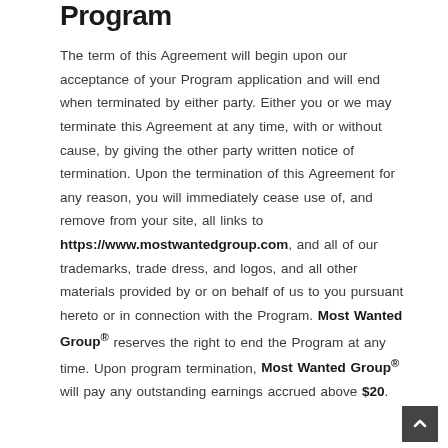Program
The term of this Agreement will begin upon our acceptance of your Program application and will end when terminated by either party. Either you or we may terminate this Agreement at any time, with or without cause, by giving the other party written notice of termination. Upon the termination of this Agreement for any reason, you will immediately cease use of, and remove from your site, all links to https://www.mostwantedgroup.com, and all of our trademarks, trade dress, and logos, and all other materials provided by or on behalf of us to you pursuant hereto or in connection with the Program. Most Wanted Group® reserves the right to end the Program at any time. Upon program termination, Most Wanted Group® will pay any outstanding earnings accrued above $20.